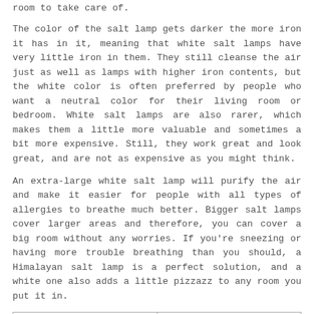room to take care of.
The color of the salt lamp gets darker the more iron it has in it, meaning that white salt lamps have very little iron in them. They still cleanse the air just as well as lamps with higher iron contents, but the white color is often preferred by people who want a neutral color for their living room or bedroom. White salt lamps are also rarer, which makes them a little more valuable and sometimes a bit more expensive. Still, they work great and look great, and are not as expensive as you might think.
An extra-large white salt lamp will purify the air and make it easier for people with all types of allergies to breathe much better. Bigger salt lamps cover larger areas and therefore, you can cover a big room without any worries. If you're sneezing or having more trouble breathing than you should, a Himalayan salt lamp is a perfect solution, and a white one also adds a little pizzazz to any room you put it in.
| Weight | 7-9 Kg |
| --- | --- |